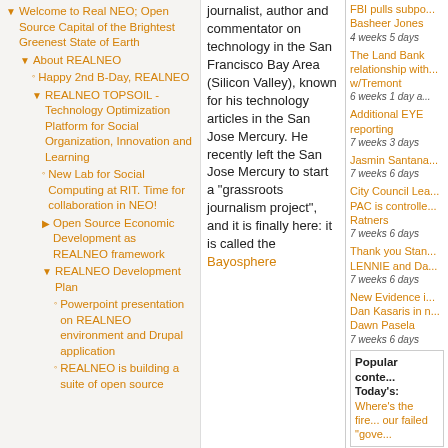Welcome to Real NEO; Open Source Capital of the Brightest Greenest State of Earth
About REALNEO
Happy 2nd B-Day, REALNEO
REALNEO TOPSOIL - Technology Optimization Platform for Social Organization, Innovation and Learning
New Lab for Social Computing at RIT. Time for collaboration in NEO!
Open Source Economic Development as REALNEO framework
REALNEO Development Plan
Powerpoint presentation on REALNEO environment and Drupal application
REALNEO is building a suite of open source
journalist, author and commentator on technology in the San Francisco Bay Area (Silicon Valley), known for his technology articles in the San Jose Mercury. He recently left the San Jose Mercury to start a "grassroots journalism project", and it is finally here: it is called the Bayosphere
FBI pulls subpo... Basheer Jones 4 weeks 5 days
The Land Bank relationship with... w/Tremont 6 weeks 1 day a...
Additional EYE reporting 7 weeks 3 days
Jasmin Santana... 7 weeks 6 days
City Council Lea... PAC is controlle... Ratners 7 weeks 6 days
Thank you Stan... LENNIE and Da... 7 weeks 6 days
New Evidence i... Dan Kasaris in n... Dawn Pasela 7 weeks 6 days
Popular content Today's:
Where's the fire... our failed "gove...